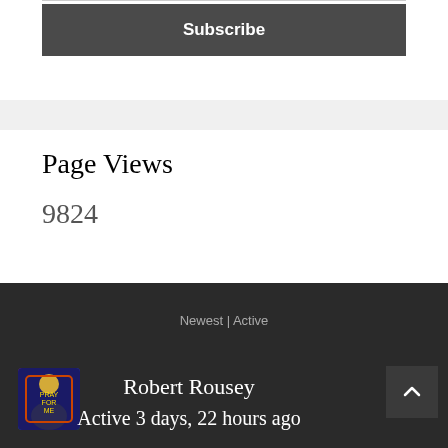Subscribe
Page Views
9824
Newest | Active
Robert Rousey
Active 3 days, 22 hours ago